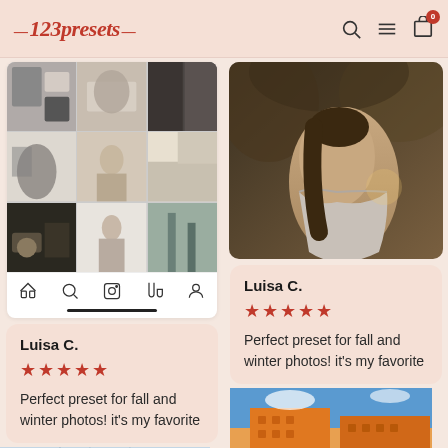123presets
[Figure (screenshot): Instagram app mockup showing a 3x3 grid of fashion/lifestyle photos and bottom navigation bar]
Luisa C.
★★★★★
Perfect preset for fall and winter photos! it's my favorite
[Figure (photo): Woman seen from behind wearing a draped grey/white top, warm autumn light, golden bokeh background]
Luisa C.
★★★★★
Perfect preset for fall and winter photos! it's my favorite
[Figure (photo): Blue sky with power lines/cables, slightly overexposed]
[Figure (photo): Orange/terracotta apartment building against blue sky]